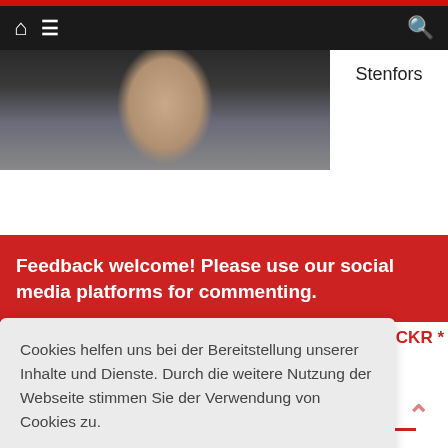[Figure (screenshot): Website navigation bar with home icon, hamburger menu icon, and search icon on dark background]
[Figure (photo): Person wearing headphones and glasses, partial face visible, screenshot from video call]
Stenfors
Feedback welcome! Please use our social media platforms for commenting.
CKR *
Cookies helfen uns bei der Bereitstellung unserer Inhalte und Dienste. Durch die weitere Nutzung der Webseite stimmen Sie der Verwendung von Cookies zu.
Okay!
Privacy & Cookies Policy